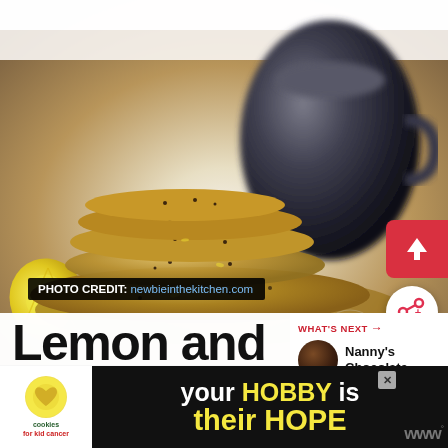[Figure (photo): Stack of lemon and poppyseed thin cookies with a dark ceramic cup/jar in the background, lemon wedge on the left, on a white surface with decorative paper]
PHOTO CREDIT: newbieinthekitchen.com
Lemon and Poppyseed Thins
WHAT'S NEXT → Nanny's Chocolate...
[Figure (infographic): Advertisement banner: cookies for kid cancer logo with heart cookie image, text 'your HOBBY is their HOPE']